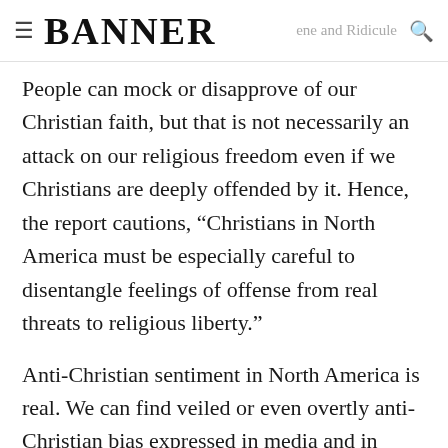≡ BANNER [header text and ridiculle] 🔍
People can mock or disapprove of our Christian faith, but that is not necessarily an attack on our religious freedom even if we Christians are deeply offended by it. Hence, the report cautions, “Christians in North America must be especially careful to disentangle feelings of offense from real threats to religious liberty.”
Anti-Christian sentiment in North America is real. We can find veiled or even overtly anti-Christian bias expressed in media and in society. But just because we are offended by those expressions of bias…